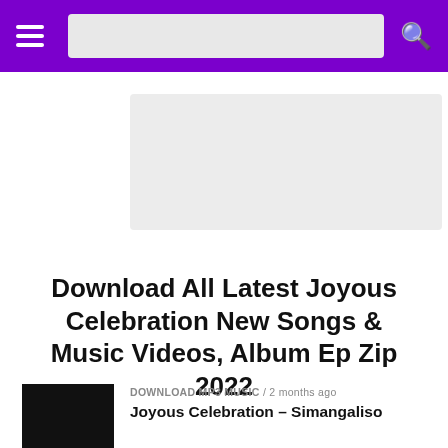Navigation header with hamburger menu, search bar, and search icon
[Figure (other): Gray advertisement banner area below header]
Download All Latest Joyous Celebration New Songs & Music Videos, Album Ep Zip 2022
DOWNLOAD MP3 MUSIC / 2 months ago
Joyous Celebration – Simangaliso